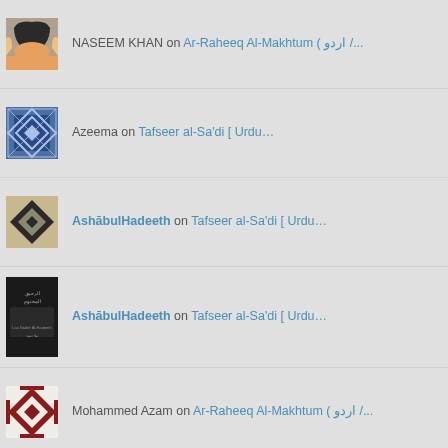NASEEM KHAN on Ar-Raheeq Al-Makhtum ( اردو /...
Azeema on Tafseer al-Sa'di [ Urdu...
AshābulHadeeth on Tafseer al-Sa'di [ Urdu...
Mohammed Azam on Ar-Raheeq Al-Makhtum ( اردو /...
View Full Site
Blog at WordPress.com.